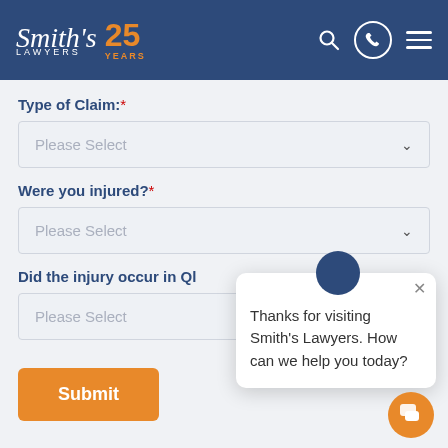[Figure (logo): Smith's Lawyers 25 Years logo with navigation icons (search, phone, hamburger menu) on dark blue header]
Type of Claim:*
Please Select (dropdown)
Were you injured?*
Please Select (dropdown)
Did the injury occur in QI
Please Select (dropdown, partially obscured)
Submit
Thanks for visiting Smith's Lawyers. How can we help you today?